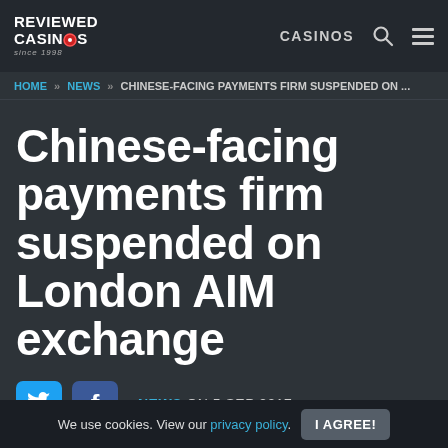REVIEWED CASINOS since 1998 | CASINOS
HOME » NEWS » CHINESE-FACING PAYMENTS FIRM SUSPENDED ON ...
Chinese-facing payments firm suspended on London AIM exchange
NEWS ON 5 SEP 2017
We use cookies. View our privacy policy. I AGREE!